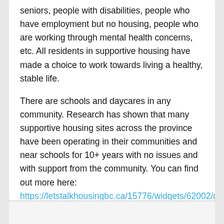seniors, people with disabilities, people who have employment but no housing, people who are working through mental health concerns, etc. All residents in supportive housing have made a choice to work towards living a healthy, stable life.
There are schools and daycares in any community. Research has shown that many supportive housing sites across the province have been operating in their communities and near schools for 10+ years with no issues and with support from the community. You can find out more here: https://letstalkhousingbc.ca/15776/widgets/62002/documents/37467